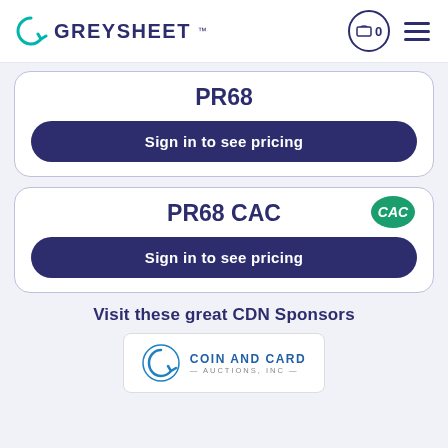GREYSHEET
PR68
Sign in to see pricing
PR68 CAC
Sign in to see pricing
Visit these great CDN Sponsors
[Figure (logo): Coin and Card Auctions, Inc. logo with circular arrow icon]